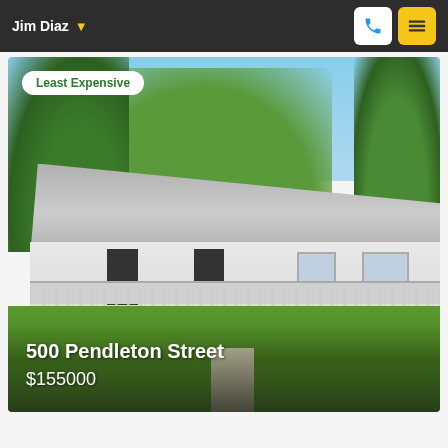Jim Diaz
[Figure (photo): Exterior photo of a single-story house with white/grey siding and grey asphalt shingle roof, front porch with white railings, surrounded by green trees and lawn. Badge overlay reads 'Least Expensive'. Text overlay: '500 Pendleton Street' and '$155000'.]
500 Pendleton Street
$155000